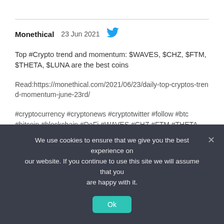Monethical  23 Jun 2021
Top #Crypto trend and momentum: $WAVES, $CHZ, $FTM, $THETA, $LUNA are the best coins
Read:https://monethical.com/2021/06/23/daily-top-cryptos-trend-momentum-june-23rd/
#cryptocurrency #cryptonews #cryptotwitter #follow #btc #bitcoin #blockchain #DeFi #WAVES #CHZ #FTM #THETA #LUNA #LUNAUSDT #THETAUSDT #FTMUSDT #CHZUSDT #WAVESUSDT
Reply, Retweet 1, Like 4
We use cookies to ensure that we give you the best experience on our website. If you continue to use this site we will assume that you are happy with it.